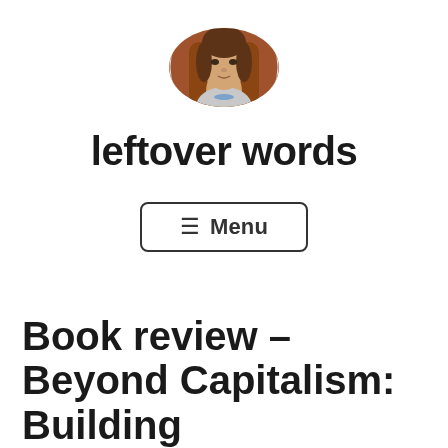[Figure (photo): Circular cropped portrait photo of a woman seated, looking at the camera, with an orange/brown background, wearing a light grey top and a beaded necklace.]
leftover words
≡ Menu
Book review – Beyond Capitalism: Building Democratic Alternatives